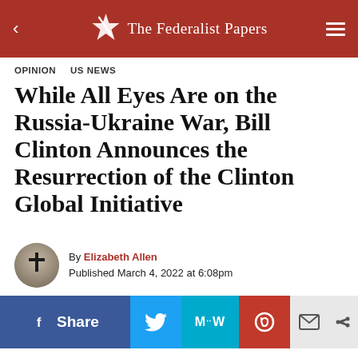The Federalist Papers
OPINION  US NEWS
While All Eyes Are on the Russia-Ukraine War, Bill Clinton Announces the Resurrection of the Clinton Global Initiative
By Elizabeth Allen
Published March 4, 2022 at 6:08pm
[Figure (other): Social share bar with Facebook Share, Twitter, MeWe, Parler, Email, and Share buttons]
Former President Bill Clinton announced in a letter on the Clinton Foundation website the reinstatement of the